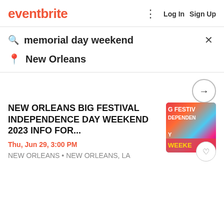eventbrite
memorial day weekend
New Orleans
NEW ORLEANS BIG FESTIVAL INDEPENDENCE DAY WEEKEND 2023 INFO FOR...
Thu, Jun 29, 3:00 PM
NEW ORLEANS • NEW ORLEANS, LA